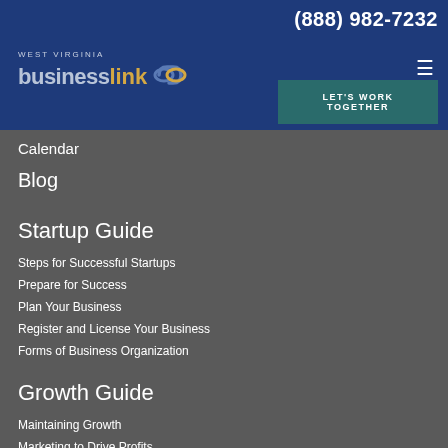(888) 982-7232
[Figure (logo): West Virginia businesslink logo with chain link icon]
LET'S WORK TOGETHER
Calendar
Blog
Startup Guide
Steps for Successful Startups
Prepare for Success
Plan Your Business
Register and License Your Business
Forms of Business Organization
Growth Guide
Maintaining Growth
Marketing to Drive Profits
Exporting to Expand Sales